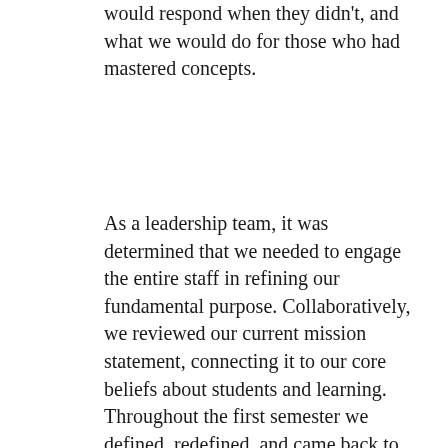would respond when they didn't, and what we would do for those who had mastered concepts.
As a leadership team, it was determined that we needed to engage the entire staff in refining our fundamental purpose. Collaboratively, we reviewed our current mission statement, connecting it to our core beliefs about students and learning. Throughout the first semester we defined, redefined, and came back to the development of a new mission statement that accurately reflected our values and beliefs. Nearly a semester into the school year, with input from certified teachers, classified staff, and our community through our school accountability committee, we released that the mission of Campbell Elementary is to ensure that all students learn to their fullest potential.